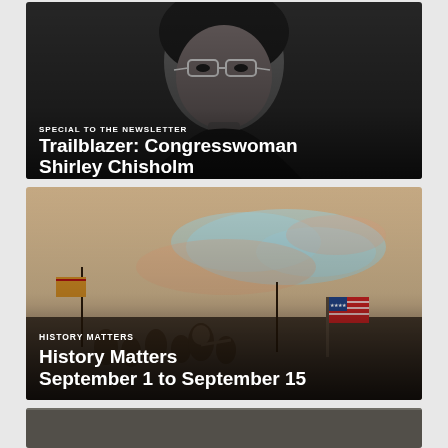[Figure (photo): Black and white photograph of Congresswoman Shirley Chisholm wearing glasses, looking upward]
SPECIAL TO THE NEWSLETTER
Trailblazer: Congresswoman Shirley Chisholm
[Figure (photo): Historical painting/illustration showing people with an American flag, man pointing, map shape of a region visible in clouds above]
HISTORY MATTERS
History Matters September 1 to September 15
[Figure (photo): Partial black and white historical photograph or illustration, partially visible at bottom of page]